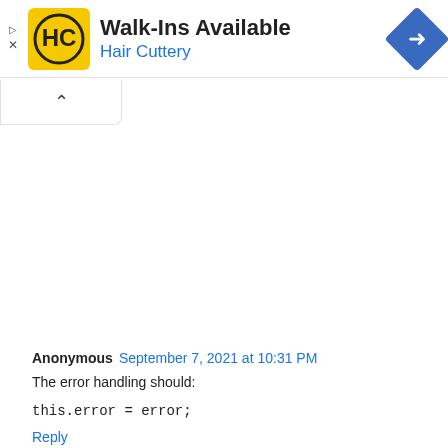[Figure (infographic): Advertisement banner for Hair Cuttery with yellow logo, Walk-Ins Available text, and blue navigation diamond icon]
[Figure (other): Collapse/chevron button below the ad banner]
Anonymous September 7, 2021 at 10:31 PM
The error handling should:
this.error = error;
Reply